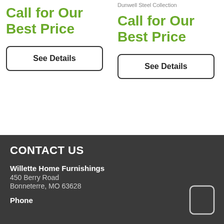Dunwell Steel Collection
Call for Our Best Price
See Details
Call for Our Best Price
See Details
CONTACT US
Willette Home Furnishings
450 Berry Road
Bonneterre, MO 63628
Phone